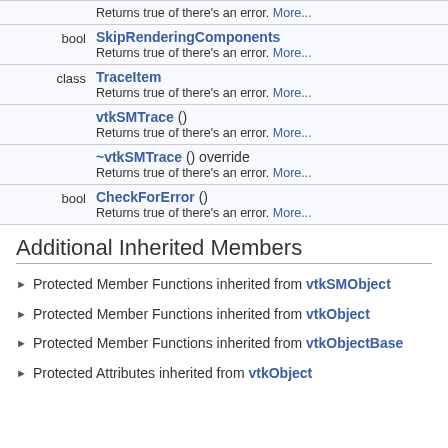| type | name/description |
| --- | --- |
|  | Returns true of there's an error. More... |
| bool | SkipRenderingComponents ()
Returns true of there's an error. More... |
| class | TraceItem
Returns true of there's an error. More... |
|  | vtkSMTrace ()
Returns true of there's an error. More... |
|  | ~vtkSMTrace () override
Returns true of there's an error. More... |
| bool | CheckForError ()
Returns true of there's an error. More... |
Additional Inherited Members
Protected Member Functions inherited from vtkSMObject
Protected Member Functions inherited from vtkObject
Protected Member Functions inherited from vtkObjectBase
Protected Attributes inherited from vtkObject